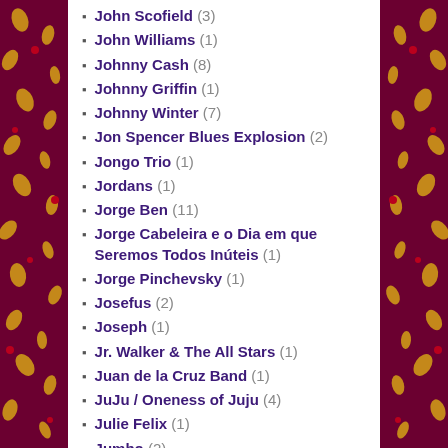John Scofield (3)
John Williams (1)
Johnny Cash (8)
Johnny Griffin (1)
Johnny Winter (7)
Jon Spencer Blues Explosion (2)
Jongo Trio (1)
Jordans (1)
Jorge Ben (11)
Jorge Cabeleira e o Dia em que Seremos Todos Inúteis (1)
Jorge Pinchevsky (1)
Josefus (2)
Joseph (1)
Jr. Walker & The All Stars (1)
Juan de la Cruz Band (1)
JuJu / Oneness of Juju (4)
Julie Felix (1)
Jumbo (2)
Junior Murvin (1)
Kak (1)